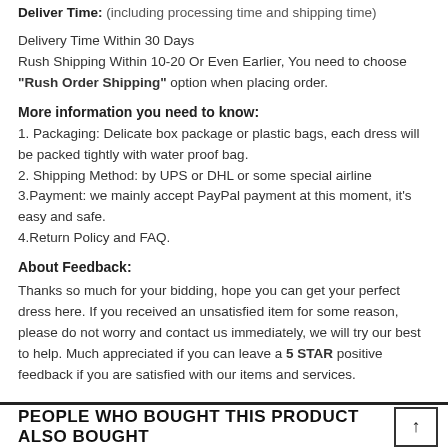Deliver Time: (including processing time and shipping time)
Delivery Time Within 30 Days
Rush Shipping Within 10-20 Or Even Earlier, You need to choose "Rush Order Shipping" option when placing order.
More information you need to know:
1. Packaging: Delicate box package or plastic bags, each dress will be packed tightly with water proof bag.
2. Shipping Method: by UPS or DHL or some special airline
3.Payment: we mainly accept PayPal payment at this moment, it's easy and safe.
4.Return Policy and FAQ.
About Feedback:
Thanks so much for your bidding, hope you can get your perfect dress here. If you received an unsatisfied item for some reason, please do not worry and contact us immediately, we will try our best to help. Much appreciated if you can leave a 5 STAR positive feedback if you are satisfied with our items and services.
PEOPLE WHO BOUGHT THIS PRODUCT ALSO BOUGHT